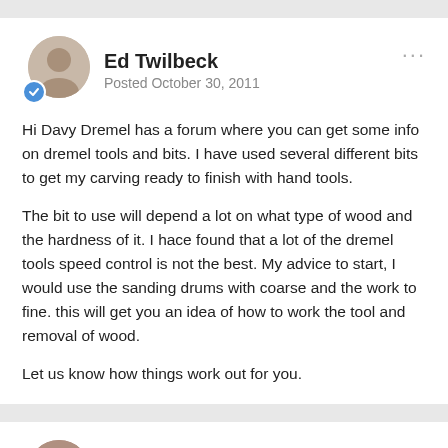Ed Twilbeck
Posted October 30, 2011
Hi Davy Dremel has a forum where you can get some info on dremel tools and bits. I have used several different bits to get my carving ready to finish with hand tools.

The bit to use will depend a lot on what type of wood and the hardness of it. I hace found that a lot of the dremel tools speed control is not the best. My advice to start, I would use the sanding drums with coarse and the work to fine. this will get you an idea of how to work the tool and removal of wood.

Let us know how things work out for you.
Janel
Posted October 30, 2011